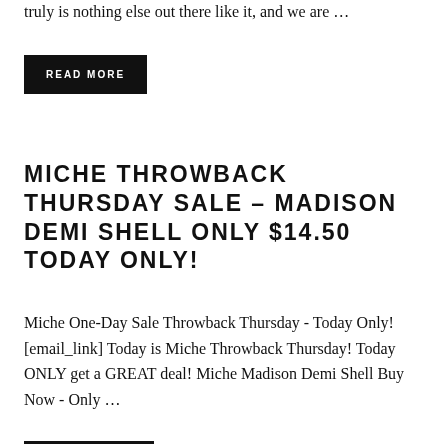truly is nothing else out there like it, and we are …
READ MORE
MICHE THROWBACK THURSDAY SALE – MADISON DEMI SHELL ONLY $14.50 TODAY ONLY!
Miche One-Day Sale Throwback Thursday - Today Only! [email_link] Today is Miche Throwback Thursday! Today ONLY get a GREAT deal! Miche Madison Demi Shell Buy Now - Only …